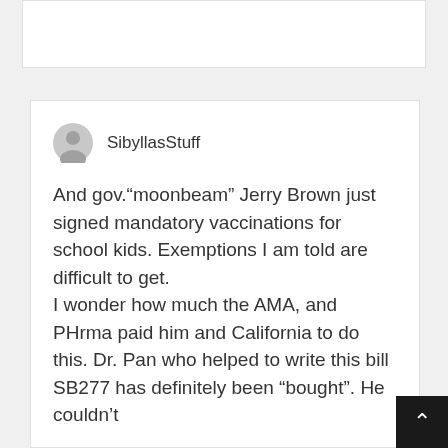[Figure (other): Top white card, partially visible, no content shown]
SibyllasStuff
And gov.“moonbeam” Jerry Brown just signed mandatory vaccinations for school kids. Exemptions I am told are difficult to get.
I wonder how much the AMA, and PHrma paid him and California to do this. Dr. Pan who helped to write this bill SB277 has definitely been “bought”. He couldn’t